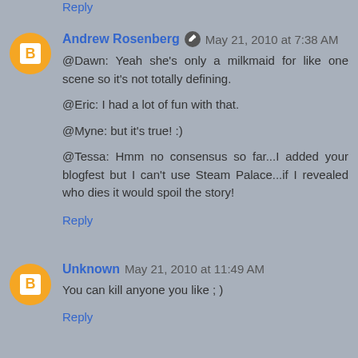Reply
Andrew Rosenberg  May 21, 2010 at 7:38 AM
@Dawn: Yeah she's only a milkmaid for like one scene so it's not totally defining.

@Eric: I had a lot of fun with that.

@Myne: but it's true! :)

@Tessa: Hmm no consensus so far...I added your blogfest but I can't use Steam Palace...if I revealed who dies it would spoil the story!
Reply
Unknown  May 21, 2010 at 11:49 AM
You can kill anyone you like ; )
Reply